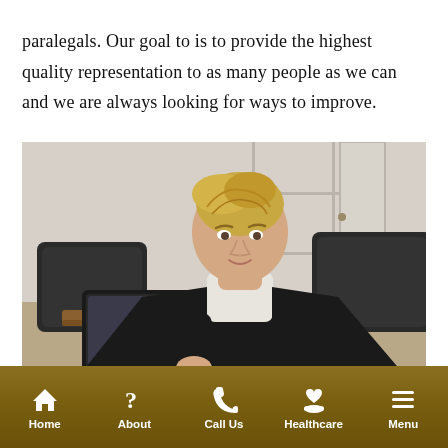paralegals. Our goal to is to provide the highest quality representation to as many people as we can and we are always looking for ways to improve.
[Figure (photo): A professional woman in a dark blazer sitting at a desk looking down at a tablet device, in an office setting with chairs and wooden paneling in the background.]
Home | About | Call Us | Healthcare | Menu